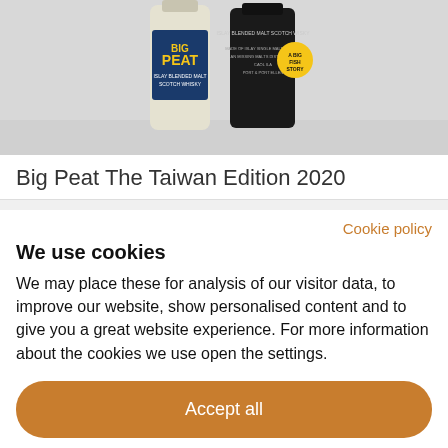[Figure (photo): Photo of Big Peat The Taiwan Edition 2020 whisky bottles - two bottles, one clear with colorful label showing 'BIG PEAT' text, one dark bottle, against a light background]
Big Peat The Taiwan Edition 2020
Cookie policy
We use cookies
We may place these for analysis of our visitor data, to improve our website, show personalised content and to give you a great website experience. For more information about the cookies we use open the settings.
Accept all
Deny
No, adjust